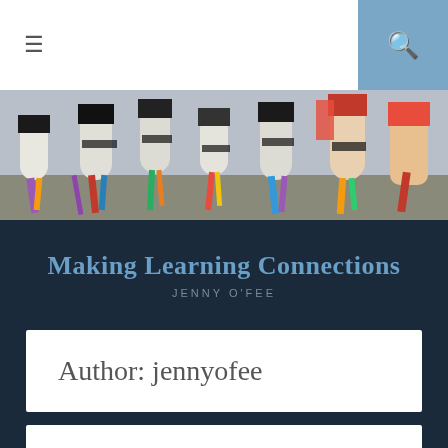≡   🔍
[Figure (photo): Photo of student craft projects — cylindrical tubes with markers, colored tape, and decorative paper assembled into robot-like figures on a table in a classroom setting.]
Making Learning Connections
JENNY O'FEE
Author: jennyofee